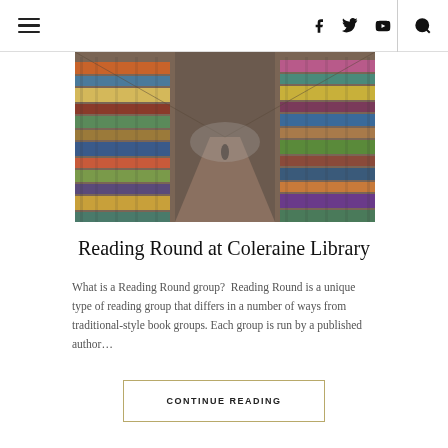☰  f  🐦  ▶  🔍
[Figure (photo): A long corridor aisle in a bookstore or library with tall stacks of books piled high on both sides, viewed from a perspective angle.]
Reading Round at Coleraine Library
What is a Reading Round group?  Reading Round is a unique type of reading group that differs in a number of ways from traditional-style book groups.  Each group is run by a published author…
CONTINUE READING